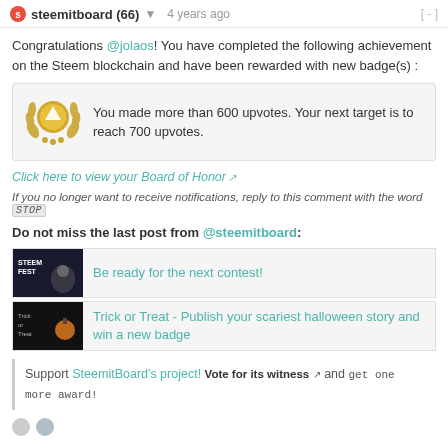steemitboard (66) ▼  4 years ago  [-]
Congratulations @jolaos! You have completed the following achievement on the Steem blockchain and have been rewarded with new badge(s) :
You made more than 600 upvotes. Your next target is to reach 700 upvotes.
Click here to view your Board of Honor
If you no longer want to receive notifications, reply to this comment with the word STOP
Do not miss the last post from @steemitboard:
Be ready for the next contest!
Trick or Treat - Publish your scariest halloween story and win a new badge
Support SteemitBoard's project! Vote for its witness and get one more award!